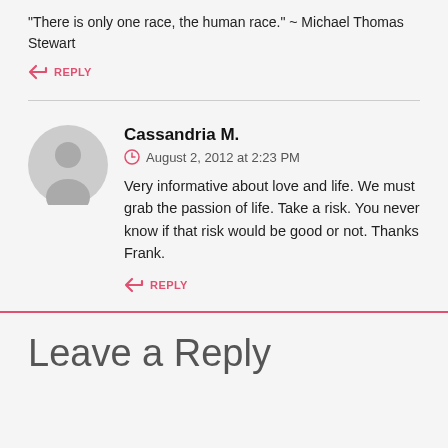“There is only one race, the human race.” ~ Michael Thomas Stewart
REPLY
Cassandria M.
August 2, 2012 at 2:23 PM
Very informative about love and life. We must grab the passion of life. Take a risk. You never know if that risk would be good or not. Thanks Frank.
REPLY
Leave a Reply